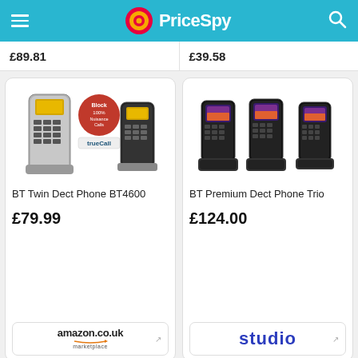PriceSpy
£89.81
£39.58
[Figure (photo): BT Twin Dect Phone BT4600 - two cordless phones, silver/black with large buttons and TrueCall block 100% nuisance calls logo]
BT Twin Dect Phone BT4600
£79.99
amazon.co.uk marketplace
[Figure (photo): BT Premium Dect Phone Trio - three black cordless phones with color screens on charging bases]
BT Premium Dect Phone Trio
£124.00
studio